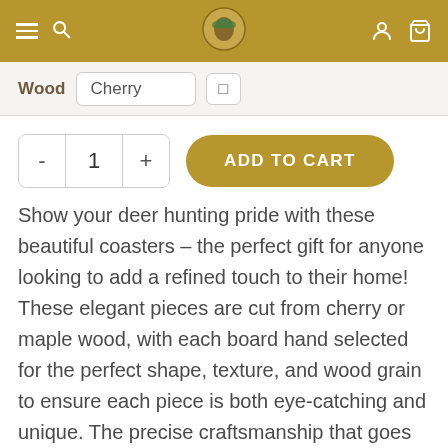Navigation bar with hamburger menu, search, logo, account, and cart icons
Wood   Cherry
- 1 +   ADD TO CART
Show your deer hunting pride with these beautiful coasters – the perfect gift for anyone looking to add a refined touch to their home! These elegant pieces are cut from cherry or maple wood, with each board hand selected for the perfect shape, texture, and wood grain to ensure each piece is both eye-catching and unique. The precise craftsmanship that goes into each coaster is guaranteed to make it a treasured part of any